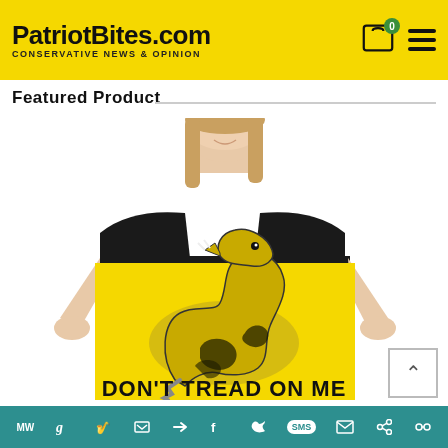PatriotBites.com — CONSERVATIVE NEWS & OPINION
Featured Product
[Figure (photo): A young woman in a black t-shirt holds up a yellow Gadsden Flag 'Don't Tread On Me' poster featuring a coiled rattlesnake. The poster is yellow with a large black and yellow illustrated snake and bold black text reading DON'T TREAD ON ME at the bottom.]
Social sharing bar with icons: MW, g, i, P, arrow, f, Twitter, SMS, mail, link, share